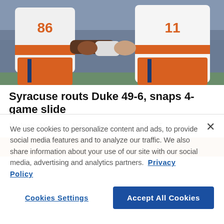[Figure (photo): Two Syracuse football players in white and orange uniforms numbered 86 and 11 on a football field, appearing to interact/handshake]
Syracuse routs Duke 49-6, snaps 4-game slide
By Joedy Mccreary Nov. 16, 2019 07:37 PM EST
[Figure (photo): Partial photo of crowd/players at bottom of article, partially covered by cookie consent banner]
We use cookies to personalize content and ads, to provide social media features and to analyze our traffic. We also share information about your use of our site with our social media, advertising and analytics partners. Privacy Policy
Cookies Settings
Accept All Cookies